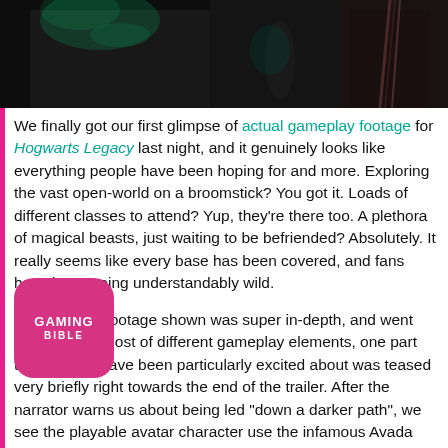[Figure (photo): Top portion of a screenshot or promotional image for Hogwarts Legacy showing dark figures in a dimly lit magical environment with green and teal lighting effects]
We finally got our first glimpse of actual gameplay footage for Hogwarts Legacy last night, and it genuinely looks like everything people have been hoping for and more. Exploring the vast open-world on a broomstick? You got it. Loads of different classes to attend? Yup, they’re there too. A plethora of magical beasts, just waiting to be befriended? Absolutely. It really seems like every base has been covered, and fans have been going understandably wild.
Although the footage shown was super in-depth, and went over a whole host of different gameplay elements, one part that gamers have been particularly excited about was teased very briefly right towards the end of the trailer. After the narrator warns us about being led “down a darker path”, we see the playable avatar character use the infamous Avada Kedavra killing curse on an
[Figure (logo): Gaming Bible logo - pink/magenta rounded square with GAMING BIBLE text in white]